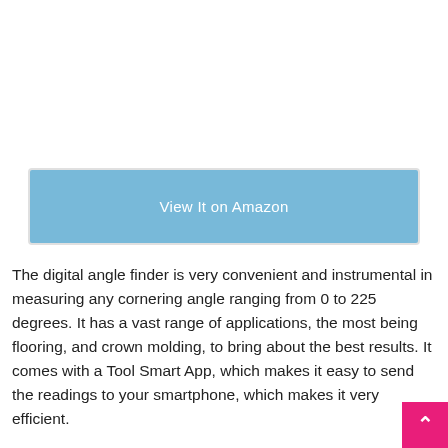[Figure (other): Large white/blank image area at the top of the page (product image placeholder)]
View It on Amazon
The digital angle finder is very convenient and instrumental in measuring any cornering angle ranging from 0 to 225 degrees. It has a vast range of applications, the most being flooring, and crown molding, to bring about the best results. It comes with a Tool Smart App, which makes it easy to send the readings to your smartphone, which makes it very efficient.